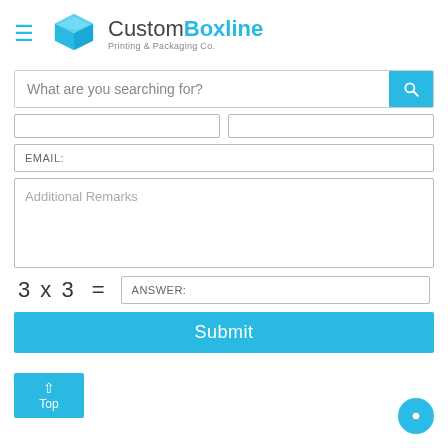[Figure (logo): CustomBoxline logo with cyan box icon and text 'CustomBoxline Printing & Packaging Co.']
What are you searching for?
EMAIL:
Additional Remarks
3 x 3  =  ANSWER:
Submit
Top